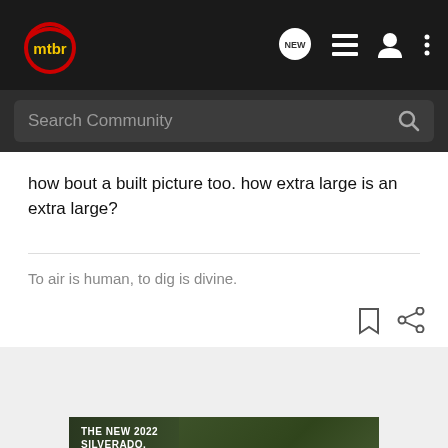mtbr
how bout a built picture too. how extra large is an extra large?
To air is human, to dig is divine.
[Figure (illustration): Advertisement for The New 2022 Silverado by Chevrolet, showing a truck in a natural setting with Explore button and Chevrolet logo]